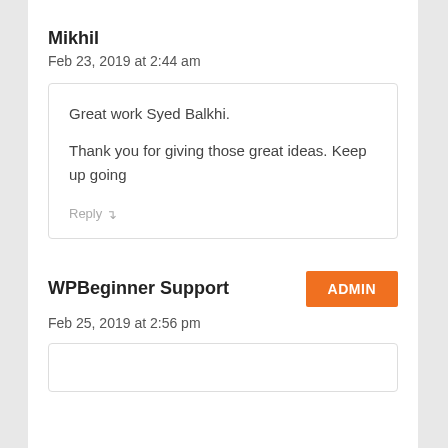Mikhil
Feb 23, 2019 at 2:44 am
Great work Syed Balkhi.

Thank you for giving those great ideas. Keep up going
Reply
WPBeginner Support
ADMIN
Feb 25, 2019 at 2:56 pm